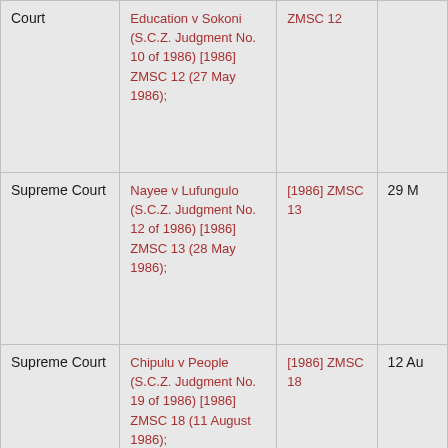| Court | Case Name | Citation | Date |
| --- | --- | --- | --- |
| Supreme Court | Education v Sokoni (S.C.Z. Judgment No. 10 of 1986) [1986] ZMSC 12 (27 May 1986); | ZMSC 12 | 27 May |
| Supreme Court | Nayee v Lufungulo (S.C.Z. Judgment No. 12 of 1986) [1986] ZMSC 13 (28 May 1986); | [1986] ZMSC 13 | 29 M... |
| Supreme Court | Chipulu v People (S.C.Z. Judgment No. 19 of 1986) [1986] ZMSC 18 (11 August 1986); | [1986] ZMSC 18 | 12 Au... |